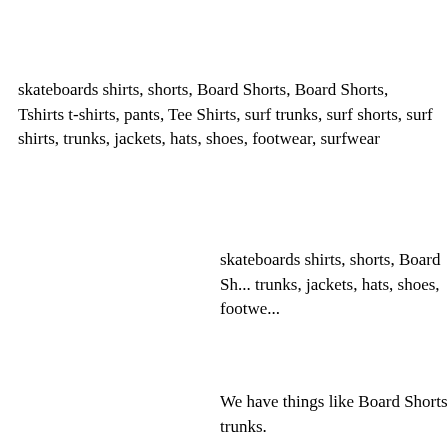skateboards shirts, shorts, Board Shorts, Board Shorts, Tshirts t-shirts, pants, Tee Shirts, surf trunks, surf shorts, surf shirts, trunks, jackets, hats, shoes, footwear, surfwear
skateboards shirts, shorts, Board Sh... trunks, jackets, hats, shoes, footwe...
We have things like Board Shorts, trunks.
Ezekiel surf clothing Board Shorts
Paul Frank surf clothing Board Shorts
Mada surf clothing Board Shorts
Analog surf clothing Board